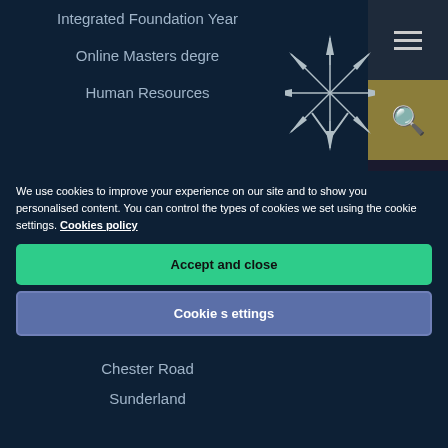Integrated Foundation Year
Online Masters degre
Human Resources
[Figure (logo): University of Sunderland starburst/sunburst logo in silver/white lines on dark background]
The University of Sunderland
Edinburgh Building
City Campus
Chester Road
Sunderland
We use cookies to improve your experience on our site and to show you personalised content. You can control the types of cookies we set using the cookie settings. Cookies policy
Accept and close
Cookie settings